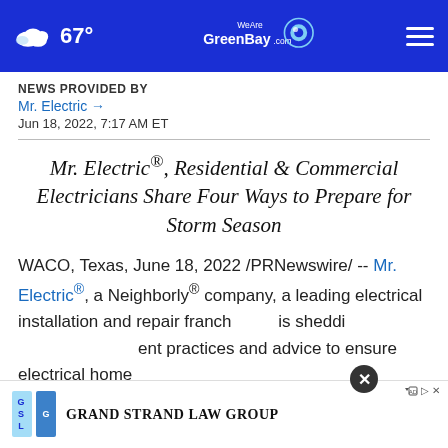67° WeAreGreenBay.com
NEWS PROVIDED BY
Mr. Electric →
Jun 18, 2022, 7:17 AM ET
Mr. Electric®, Residential & Commercial Electricians Share Four Ways to Prepare for Storm Season
WACO, Texas, June 18, 2022 /PRNewswire/ -- Mr. Electric®, a Neighborly® company, a leading electrical installation and repair franch is sheddi ent practices and advice to ensure electrical home
[Figure (other): Grand Strand Law Group advertisement overlay with close button]